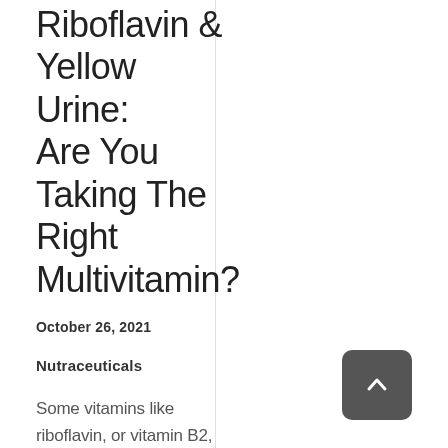Riboflavin & Yellow Urine: Are You Taking The Right Multivitamin?
October 26, 2021
Nutraceuticals
Some vitamins like riboflavin, or vitamin B2, can cause bright yellow urine with consumed in excess. Is a change in multivitamin